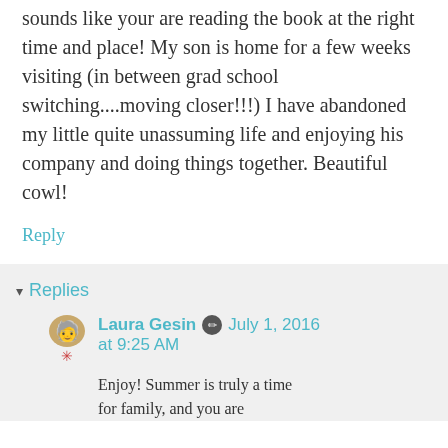sounds like your are reading the book at the right time and place! My son is home for a few weeks visiting (in between grad school switching....moving closer!!!) I have abandoned my little quite unassuming life and enjoying his company and doing things together. Beautiful cowl!
Reply
▾ Replies
Laura Gesin ✏ July 1, 2016 at 9:25 AM
Enjoy! Summer is truly a time for family, and you are